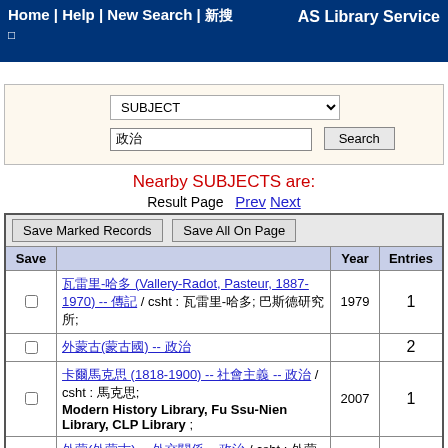Home | Help | New Search | 新搜 AS Library Service
SUBJECT (dropdown) search field with Search button
Nearby SUBJECTS are:
Result Page  Prev  Next
| Save |  | Year | Entries |
| --- | --- | --- | --- |
| □ | 瓦雷里-哈多 (Vallery-Radot, Pasteur, 1887-1970) -- 傳記 / csht : 瓦雷里-哈多; 巴斯德研究所; | 1979 | 1 |
| □ | 外蒙古(蒙古國) -- 政治 |  | 2 |
| □ | 卡爾馬克思 (1818-1900) -- 社會主義 -- 政治 / csht : 馬克思; Modern History Library, Fu Ssu-Nien Library, CLP Library ; | 2007 | 1 |
| □ | 外蒙(外蒙古) -- 外交關係 -- 政治 / csht : 外蒙古外交; Fu Ssu-Nien Library, Modern History Library ; | 1986 | 1 |